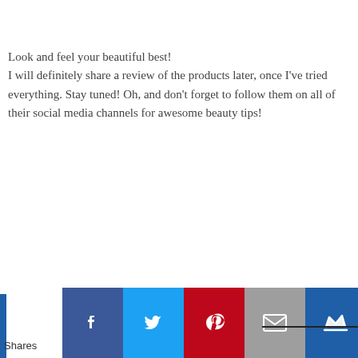Look and feel your beautiful best! I will definitely share a review of the products later, once I've tried everything. Stay tuned! Oh, and don't forget to follow them on all of their social media channels for awesome beauty tips!
Shares [Facebook] [Twitter] [Pinterest] [Email] [Crown]